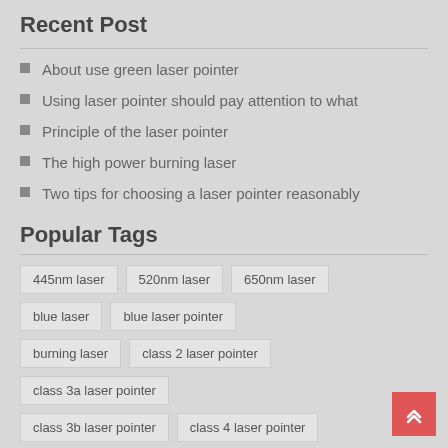Recent Post
About use green laser pointer
Using laser pointer should pay attention to what
Principle of the laser pointer
The high power burning laser
Two tips for choosing a laser pointer reasonably
Popular Tags
445nm laser | 520nm laser | 650nm laser | blue laser | blue laser pointer | burning laser | class 2 laser pointer | class 3a laser pointer | class 3b laser pointer | class 4 laser pointer